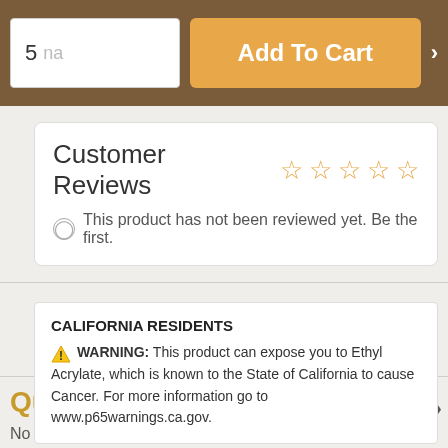[Figure (screenshot): Top navigation bar with quantity input showing '5', 'na' text, orange Add To Cart button, and right arrow on brown background]
Customer Reviews ☆ ☆ ☆ ☆ ☆
This product has not been reviewed yet. Be the first.
✎ Write Review for VSH/OT8511
Questions & Answers
No questions have been asked about this product. Be the first.
CALIFORNIA RESIDENTS
⚠ WARNING: This product can expose you to Ethyl Acrylate, which is known to the State of California to cause Cancer. For more information go to www.p65warnings.ca.gov.